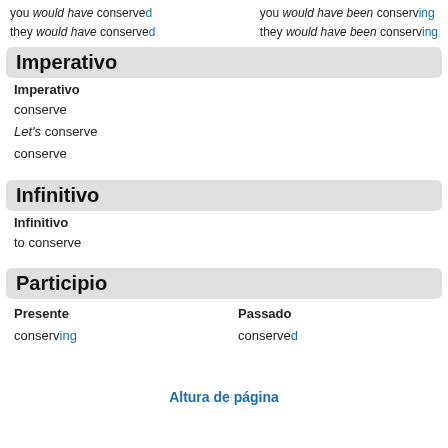you would have conserved / they would have conserved (left column) | you would have been conserving / they would have been conserving (right column)
Imperativo
Imperativo
conserve
Let's conserve
conserve
Infinitivo
Infinitivo
to conserve
Participio
Presente
Passado
conserving
conserved
Altura de página